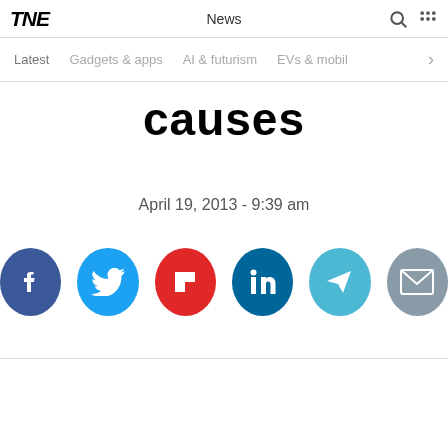TNW News
Latest  Gadgets & apps  AI & futurism  EVs & mobil
causes
April 19, 2013 - 9:39 am
[Figure (infographic): Social share buttons: Facebook, Twitter, Flipboard, LinkedIn, Telegram, Email]